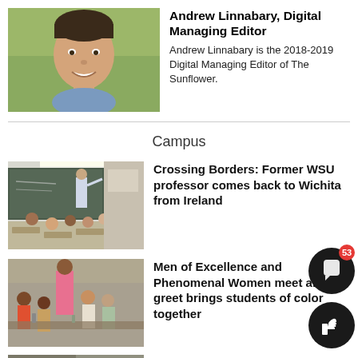[Figure (photo): Headshot of a young man smiling, wearing a denim shirt, outdoor background]
Andrew Linnabary, Digital Managing Editor
Andrew Linnabary is the 2018-2019 Digital Managing Editor of The Sunflower.
Campus
[Figure (photo): A classroom scene with a professor writing on a chalkboard and students seated at desks]
Crossing Borders: Former WSU professor comes back to Wichita from Ireland
[Figure (photo): Group of students including a woman in a pink shirt interacting in a classroom setting]
Men of Excellence and Phenomenal Women meet and greet brings students of color together
[Figure (photo): Partial view of another article thumbnail at the bottom of the page]